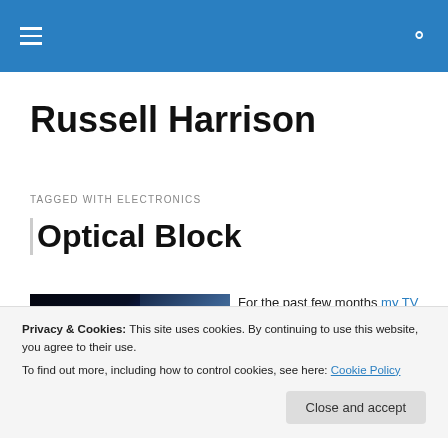Russell Harrison — navigation bar with hamburger menu and search icon
Russell Harrison
TAGGED WITH ELECTRONICS
Optical Block
[Figure (photo): Two-panel photo showing dark background with blue light glow on left and a lighter blue-gray gradient on right]
For the past few months my TV has been having
Privacy & Cookies: This site uses cookies. By continuing to use this website, you agree to their use.
To find out more, including how to control cookies, see here: Cookie Policy
Close and accept
lately its been accompanied
Optical Block